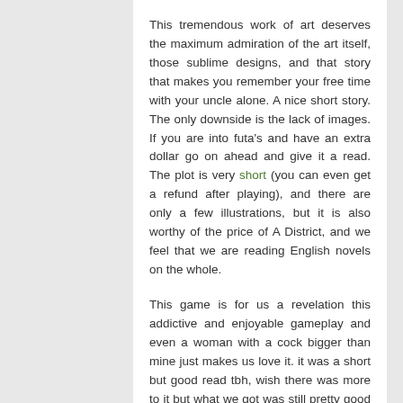This tremendous work of art deserves the maximum admiration of the art itself, those sublime designs, and that story that makes you remember your free time with your uncle alone. A nice short story. The only downside is the lack of images. If you are into futa's and have an extra dollar go on ahead and give it a read. The plot is very short (you can even get a refund after playing), and there are only a few illustrations, but it is also worthy of the price of A District, and we feel that we are reading English novels on the whole.
This game is for us a revelation this addictive and enjoyable gameplay and even a woman with a cock bigger than mine just makes us love it. it was a short but good read tbh, wish there was more to it but what we got was still pretty good just hope if they do an update or something to add more to it like op to change for being a stepson to stepdaughter or time with stepmom. Overall this game does have mixed reviews, we enjoyed it very